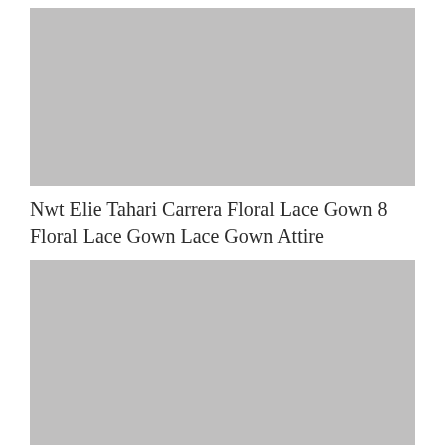[Figure (photo): Gray placeholder image for a floral lace gown product photo (top)]
Nwt Elie Tahari Carrera Floral Lace Gown 8 Floral Lace Gown Lace Gown Attire
[Figure (photo): Gray placeholder image for a floral lace gown product photo (bottom)]